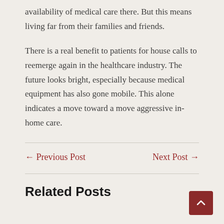availability of medical care there. But this means living far from their families and friends.
There is a real benefit to patients for house calls to reemerge again in the healthcare industry. The future looks bright, especially because medical equipment has also gone mobile. This alone indicates a move toward a move aggressive in-home care.
← Previous Post
Next Post →
Related Posts